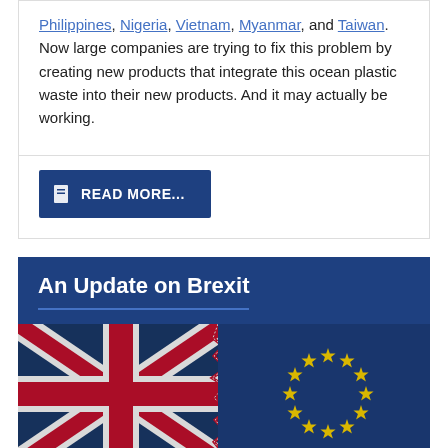Philippines, Nigeria, Vietnam, Myanmar, and Taiwan. Now large companies are trying to fix this problem by creating new products that integrate this ocean plastic waste into their new products. And it may actually be working.
[Figure (other): READ MORE... button with bookmark icon on dark blue background]
An Update on Brexit
[Figure (photo): Photo showing the UK Union Jack flag on the left and the EU flag with yellow stars on a blue background on the right, split down the middle with a jagged tear/break line between them, representing Brexit.]